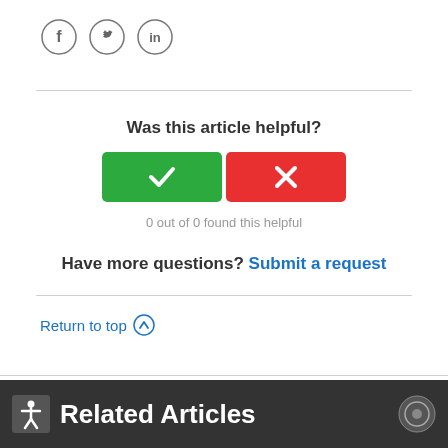[Figure (infographic): Social share icons: Facebook (f), Twitter (bird), LinkedIn (in) — circular grey outlined buttons]
Was this article helpful?
[Figure (infographic): Yes/No voting buttons: green checkmark button and red X button]
0 out of 0 found this helpful
Have more questions? Submit a request
Return to top ↑
Related Articles